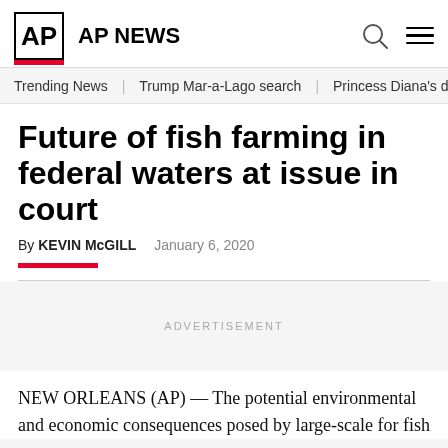AP NEWS
Trending News   Trump Mar-a-Lago search   Princess Diana's dea
Future of fish farming in federal waters at issue in court
By KEVIN McGILL   January 6, 2020
ADVERTISEMENT
NEW ORLEANS (AP) — The potential environmental and economic consequences posed by large-scale fish